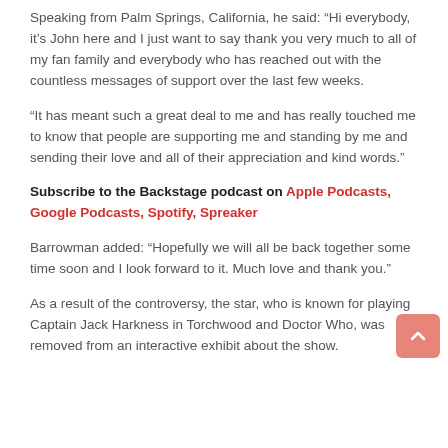Speaking from Palm Springs, California, he said: “Hi everybody, it’s John here and I just want to say thank you very much to all of my fan family and everybody who has reached out with the countless messages of support over the last few weeks.
“It has meant such a great deal to me and has really touched me to know that people are supporting me and standing by me and sending their love and all of their appreciation and kind words.”
Subscribe to the Backstage podcast on Apple Podcasts, Google Podcasts, Spotify, Spreaker
Barrowman added: “Hopefully we will all be back together some time soon and I look forward to it. Much love and thank you.”
As a result of the controversy, the star, who is known for playing Captain Jack Harkness in Torchwood and Doctor Who, was removed from an interactive exhibit about the show.